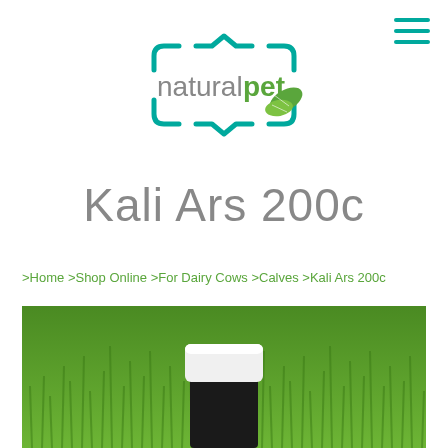[Figure (logo): naturalpet logo with teal decorative bracket frame and two green leaves]
Kali Ars 200c
>Home >Shop Online >For Dairy Cows >Calves >Kali Ars 200c
[Figure (photo): Product bottle with white cap set against a green grass background]